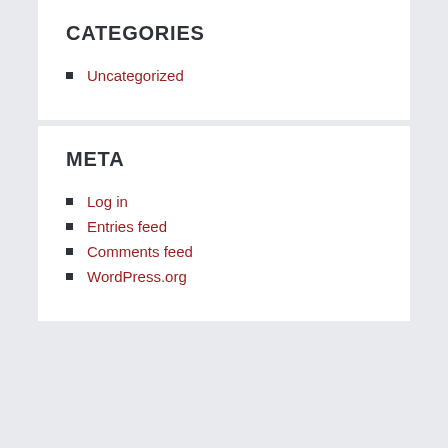CATEGORIES
Uncategorized
META
Log in
Entries feed
Comments feed
WordPress.org